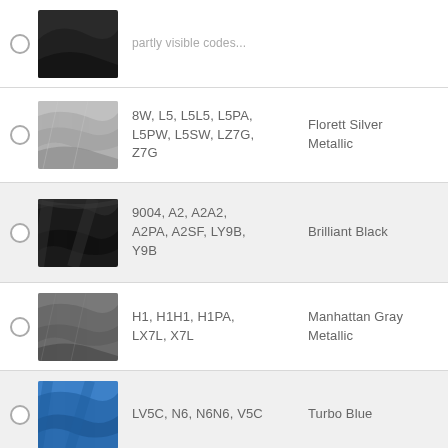8W, L5, L5L5, L5PA, L5PW, L5SW, LZ7G, Z7G — Florett Silver Metallic
9004, A2, A2A2, A2PA, A2SF, LY9B, Y9B — Brilliant Black
H1, H1H1, H1PA, LX7L, X7L — Manhattan Gray Metallic
LV5C, N6, N6N6, V5C — Turbo Blue
LX6M, M4, M4M4, X6M — Distriktgruen Metallic